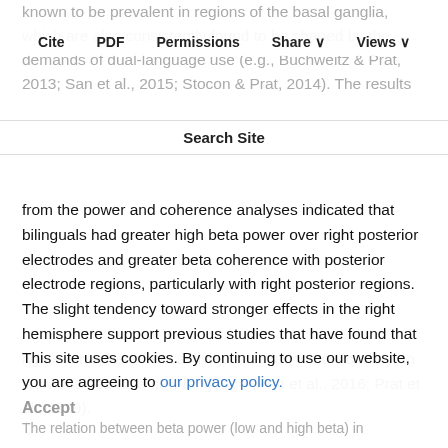known to be prevalent in regions of the basal ganglia, which are also consistently found to be shaped by the demands of dual-language use (e.g., Buchweitz & Prat, 2013; San et al., 2015; Stocon & Prat, 2014). The results
Cite  PDF  Permissions  Share ∨  Views ∨
Search Site
from the power and coherence analyses indicated that bilinguals had greater high beta power over right posterior electrodes and greater beta coherence with posterior electrode regions, particularly with right posterior regions. The slight tendency toward stronger effects in the right hemisphere support previous studies that have found that right-hemisphere beta activity is related to how quickly an individual learns a new language (Prat et al., 2016; Prat et al., 2019).
This site uses cookies. By continuing to use our website, you are agreeing to our privacy policy.
Accept
The relation between beta power (low and high beta) in